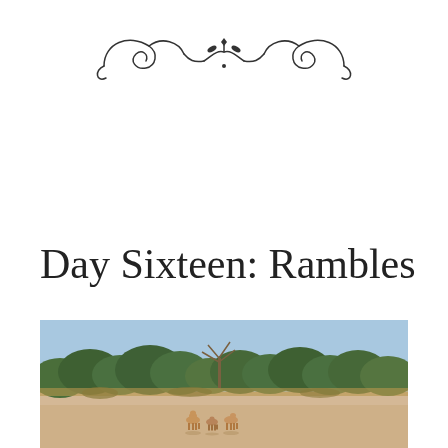[Figure (illustration): Decorative ornamental flourish divider with swirling scroll design and small floral/leaf elements in the center, rendered in dark gray/black.]
Day Sixteen: Rambles
[Figure (photo): Outdoor landscape photograph showing a dry, sandy open plain with three small animals (likely deer or antelope) in the foreground center. Behind them is a line of green trees and shrubs under a clear blue sky. The scene suggests an African wildlife setting.]